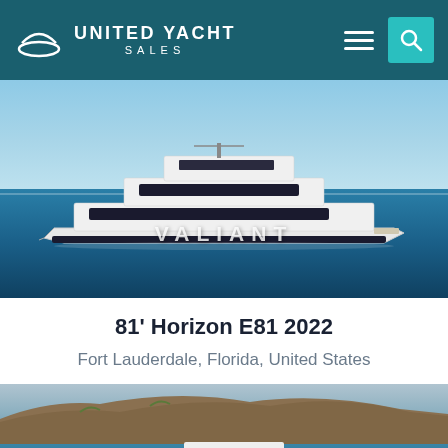UNITED YACHT SALES
[Figure (photo): Large white motor yacht named VALIANT on open blue water, aerial/side view]
81' Horizon E81 2022
Fort Lauderdale, Florida, United States
[Figure (photo): White motor yacht underway near rocky hillside coastline, bow angled left]